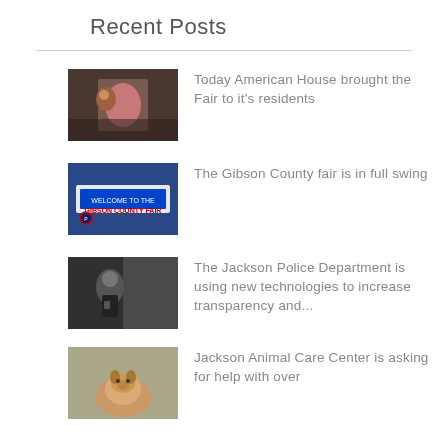Recent Posts
Today American House brought the Fair to it's residents
The Gibson County fair is in full swing
The Jackson Police Department is using new technologies to increase transparency and...
Jackson Animal Care Center is asking for help with over